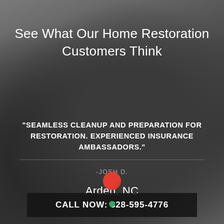See What Our Home Restoration Customers Think
"SEAMLESS CLEANUP AND PREPARATION FOR RESTORATION. EXPERIENCED INSURANCE AMBASSADORS."
-JOSH D.
Arden, NC
CALL NOW: 828-595-4776